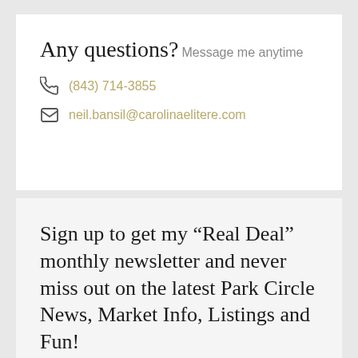Any questions?
Message me anytime
(843) 714-3855
neil.bansil@carolinaelitere.com
Sign up to get my “Real Deal” monthly newsletter and never miss out on the latest Park Circle News, Market Info, Listings and Fun!
First Name